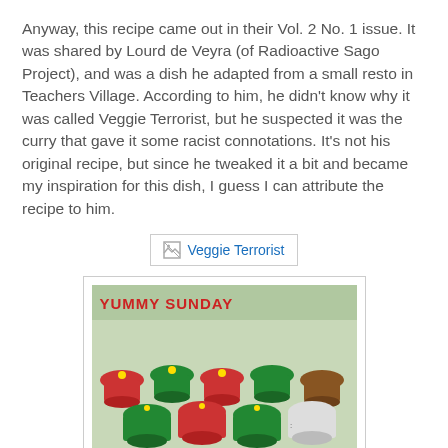Anyway, this recipe came out in their Vol. 2 No. 1 issue. It was shared by Lourd de Veyra (of Radioactive Sago Project), and was a dish he adapted from a small resto in Teachers Village. According to him, he didn't know why it was called Veggie Terrorist, but he suspected it was the curry that gave it some racist connotations. It's not his original recipe, but since he tweaked it a bit and became my inspiration for this dish, I guess I can attribute the recipe to him.
[Figure (other): Broken image placeholder showing text 'Veggie Terrorist' in blue with a broken image icon, inside a light bordered box]
[Figure (photo): Photo of decorated cupcakes with red, green and brown frosting arranged on a surface, with 'YUMMY SUNDAY' text overlay in red at the top, inside a bordered box]
Veggie Terrorist
{Serves 6}
Ingredients: